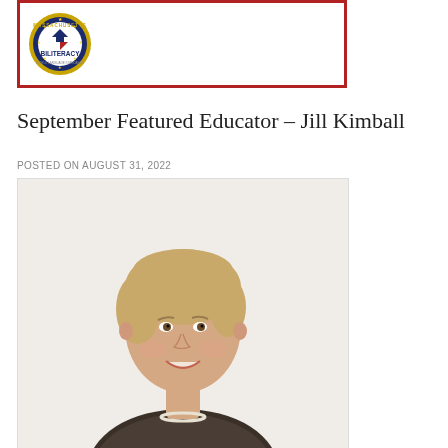[Figure (logo): Seal of Biliteracy badge inside a red-bordered box — circular blue and gold seal with 'BILITERACY' text and a downward arrow emblem]
September Featured Educator – Jill Kimball
POSTED ON AUGUST 31, 2022
[Figure (photo): Professional headshot of Jill Kimball, a woman with short blonde hair, smiling, wearing a patterned blazer and pearl necklace, against a white background]